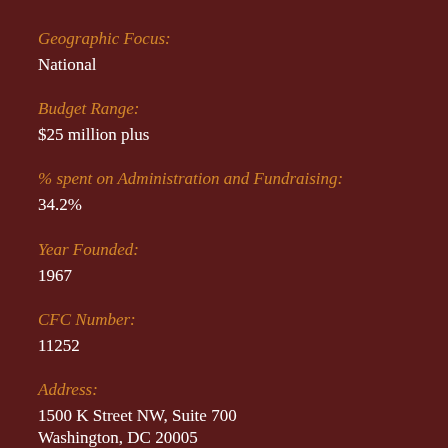Geographic Focus:
National
Budget Range:
$25 million plus
% spent on Administration and Fundraising:
34.2%
Year Founded:
1967
CFC Number:
11252
Address:
1500 K Street NW, Suite 700
Washington, DC 20005
Phone:
202-796-2500